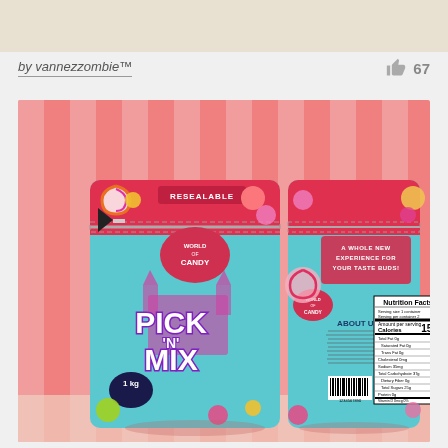[Figure (illustration): Beige/cream colored top banner strip]
by vannezzombie™
67
[Figure (photo): Product packaging design for 'World of Candy Pick N Mix' 1kg resealable pouch bag. Shows front and back of the bag against a pink and white striped background. Front features colorful candy illustrations, PICK 'N' MIX text, World of Candy logo, RESEALABLE label, and 1kg weight. Back shows Nutrition Facts panel, About Us section, barcode, and text 'A WHOLE NEW EXPERIENCE FOR YOUR TASTE BUDS!']